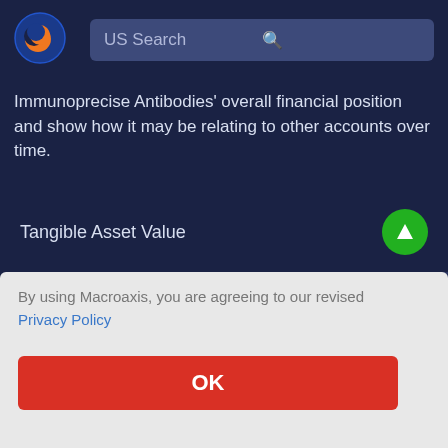[Figure (logo): Macroaxis globe logo — orange and blue spherical icon]
US Search
Immunoprecise Antibodies' overall financial position and show how it may be relating to other accounts over time.
Tangible Asset Value
By using Macroaxis, you are agreeing to our revised Privacy Policy
OK